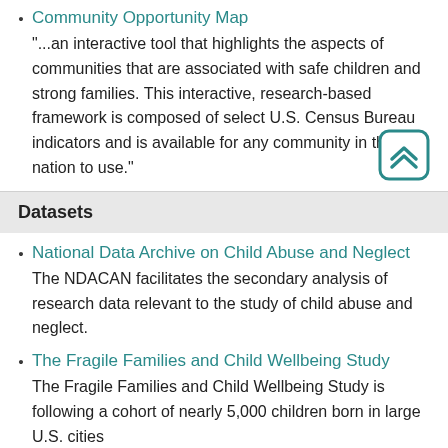Community Opportunity Map
"...an interactive tool that highlights the aspects of communities that are associated with safe children and strong families. This interactive, research-based framework is composed of select U.S. Census Bureau indicators and is available for any community in the nation to use."
Datasets
National Data Archive on Child Abuse and Neglect
The NDACAN facilitates the secondary analysis of research data relevant to the study of child abuse and neglect.
The Fragile Families and Child Wellbeing Study
The Fragile Families and Child Wellbeing Study is following a cohort of nearly 5,000 children born in large U.S. cities